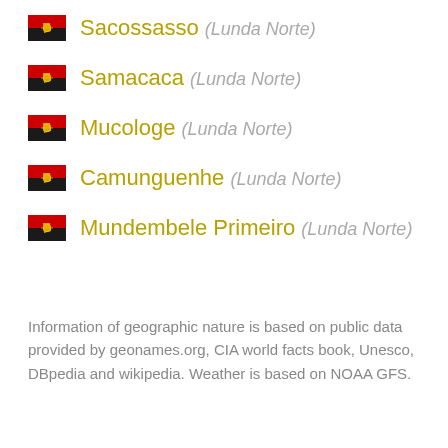Sacossasso (Lunda Norte)
Samacaca (Lunda Norte)
Mucologe (Lunda Norte)
Camunguenhe (Lunda Norte)
Mundembele Primeiro (Lunda Norte)
Information of geographic nature is based on public data provided by geonames.org, CIA world facts book, Unesco, DBpedia and wikipedia. Weather is based on NOAA GFS.